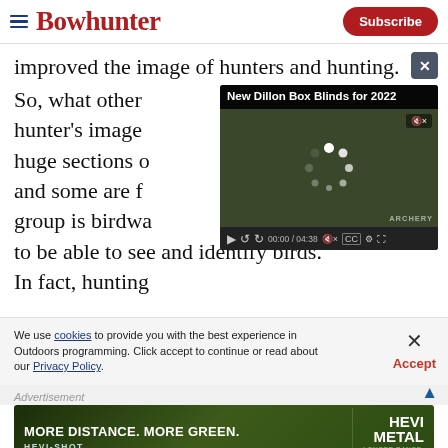Bowhunter — Subscribe
improved the image of hunters and hunting.
[Figure (screenshot): Video player showing 'New Dillon Box Blinds for 2022', paused with loading spinner, timecode 00:00 / 04:38, dark olive-colored box blind in background]
So, what other [text obscured by video] hunter's image [text obscured by video] huge sections o[text obscured by video] and some are f[text obscured by video] group is birdwa[text obscured by video] to be able to see and identify birds. In fact, hunting
We use cookies to provide you with the best experience in Outdoors programming. Click accept to continue or read about our Privacy Policy.
[Figure (photo): Hevi-Shot Hevi-Metal advertisement banner: 'MORE DISTANCE. MORE GREEN.' with camouflage shotgun shells background]